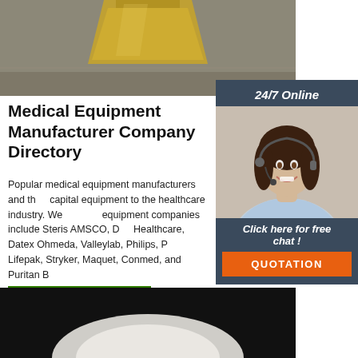[Figure (photo): Top portion of a glass Erlenmeyer flask containing yellow/amber liquid, on a grey background]
[Figure (infographic): 24/7 Online chat widget with woman wearing headset, 'Click here for free chat!' and orange QUOTATION button]
Medical Equipment Manufacturer Company Directory
Popular medical equipment manufacturers and their capital equipment to the healthcare industry. Well-known equipment companies include Steris AMSCO, Dr... Healthcare, Datex Ohmeda, Valleylab, Philips, P... Lifepak, Stryker, Maquet, Conmed, and Puritan B...
[Figure (other): Green 'Get Price' button]
[Figure (logo): Orange 'TOP' logo with house/arrow icon]
[Figure (photo): Bottom image — dark background with white rounded shape, appears to be a medical device or product]